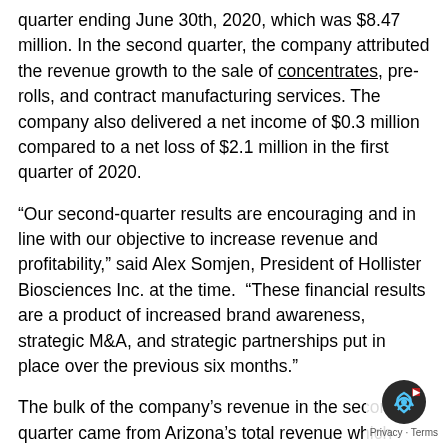quarter ending June 30th, 2020, which was $8.47 million. In the second quarter, the company attributed the revenue growth to the sale of concentrates, pre-rolls, and contract manufacturing services. The company also delivered a net income of $0.3 million compared to a net loss of $2.1 million in the first quarter of 2020.
“Our second-quarter results are encouraging and in line with our objective to increase revenue and profitability,” said Alex Somjen, President of Hollister Biosciences Inc. at the time.  “These financial results are a product of increased brand awareness, strategic M&A, and strategic partnerships put in place over the previous six months.”
The bulk of the company’s revenue in the second quarter came from Arizona’s total revenue which over the last six months ending June was $8.7 million. The state was also turning in positive results with a net income for the last six months (ending June) of $709,239. California generated revenue of $651,862 for the last six months (ending June) but had a net loss of $856,087.